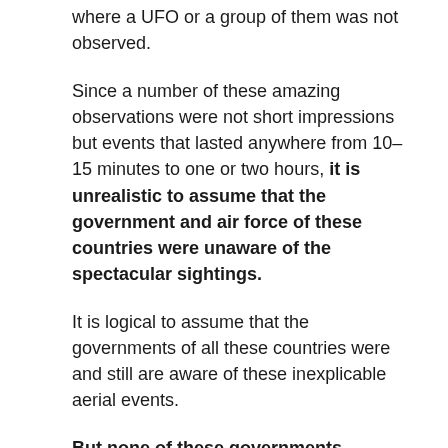where a UFO or a group of them was not observed.
Since a number of these amazing observations were not short impressions but events that lasted anywhere from 10–15 minutes to one or two hours, it is unrealistic to assume that the government and air force of these countries were unaware of the spectacular sightings.
It is logical to assume that the governments of all these countries were and still are aware of these inexplicable aerial events.
But none of these governments disclosed any official explanation that these observations were UFO sightings with extraterrestrial origins.